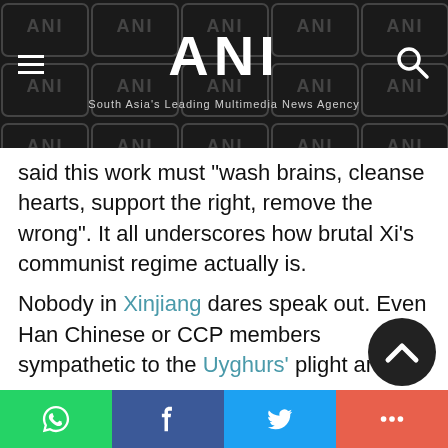ANI — South Asia's Leading Multimedia News Agency
said this work must "wash brains, cleanse hearts, support the right, remove the wrong". It all underscores how brutal Xi's communist regime actually is.

Nobody in Xinjiang dares speak out. Even Han Chinese or CCP members sympathetic to the Uyghurs' plight are forced into silence, for they would be immediately branded "two-faced individuals" and...
Social share bar: WhatsApp, Facebook, Twitter, More